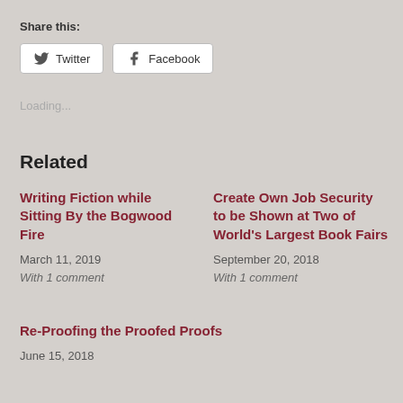Share this:
Twitter   Facebook
Loading...
Related
Writing Fiction while Sitting By the Bogwood Fire
March 11, 2019
With 1 comment
Create Own Job Security to be Shown at Two of World's Largest Book Fairs
September 20, 2018
With 1 comment
Re-Proofing the Proofed Proofs
June 15, 2018